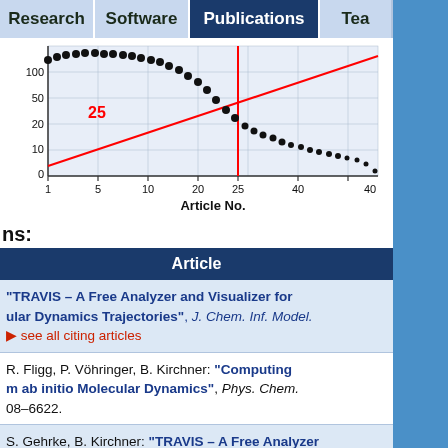Research | Software | Publications | Tea...
[Figure (scatter-plot): Scatter plot of citation counts vs article number, with a diagonal red trend line and a vertical red line at article 25. Black dots show decreasing citations from ~100 at article 1 to near 0 at article 47+.]
ns:
| Article |
| --- |
| "TRAVIS – A Free Analyzer and Visualizer for ular Dynamics Trajectories", J. Chem. Inf. Model. → see all citing articles |
| R. Fligg, P. Vöhringer, B. Kirchner: "Computing m ab initio Molecular Dynamics", Phys. Chem. 08–6622. |
| S. Gehrke, B. Kirchner: "TRAVIS – A Free Analyzer olecular Simulation", J. Chem. Phys. 2020, 152 (16), |
| S. Pensado, A. Stark, B. Kirchner: "Proton Transfer |
"TRAVIS – A Free Analyzer and Visualizer for ular Dynamics Trajectories", J. Chem. Inf. Model. → see all citing articles
R. Fligg, P. Vöhringer, B. Kirchner: "Computing m ab initio Molecular Dynamics", Phys. Chem. 08–6622.
S. Gehrke, B. Kirchner: "TRAVIS – A Free Analyzer olecular Simulation", J. Chem. Phys. 2020, 152 (16),
S. Pensado, A. Stark, B. Kirchner: "Proton Transfer